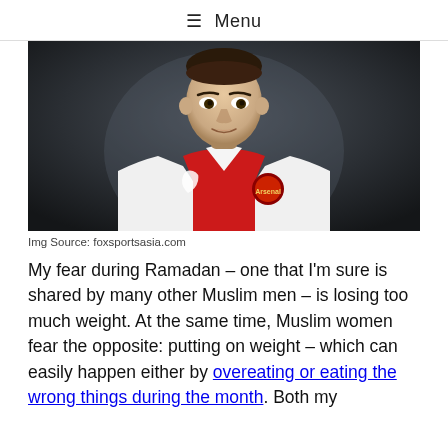≡ Menu
[Figure (photo): A soccer player wearing a red and white Arsenal FC jersey with a Puma logo, photographed from the chest up against a dark blurred background.]
Img Source: foxsportsasia.com
My fear during Ramadan – one that I'm sure is shared by many other Muslim men – is losing too much weight. At the same time, Muslim women fear the opposite: putting on weight – which can easily happen either by overeating or eating the wrong things during the month. Both my